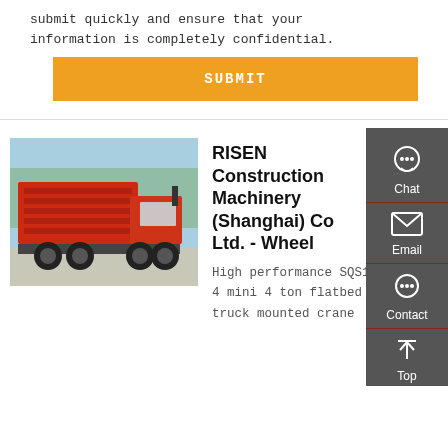submit quickly and ensure that your information is completely confidential.
SUBMIT
[Figure (photo): Red dump truck / tipper truck parked outdoors, side-rear view, with green trees in background]
RISEN Construction Machinery (Shanghai) Co Ltd. - Wheel
High performance SQS100-4 mini 4 ton flatbed truck mounted crane